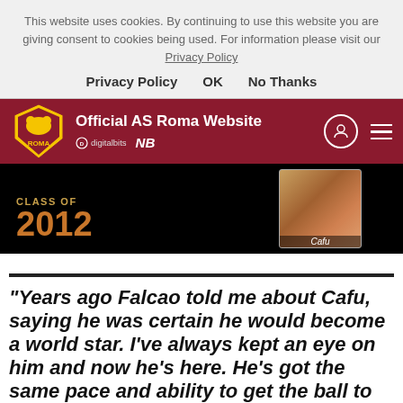This website uses cookies. By continuing to use this website you are giving consent to cookies being used. For information please visit our Privacy Policy
Privacy Policy   OK   No Thanks
Official AS Roma Website
[Figure (photo): AS Roma Class of 2012 banner featuring illustrated card of Cafu]
"Years ago Falcao told me about Cafu, saying he was certain he would become a world star. I've always kept an eye on him and now he's here. He's got the same pace and ability to get the ball to the byline as Rocca."